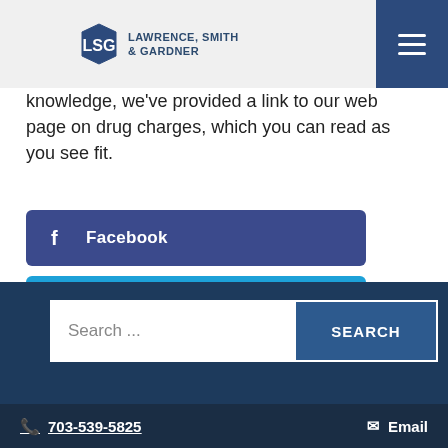Lawrence, Smith & Gardner
knowledge, we've provided a link to our web page on drug charges, which you can read as you see fit.
[Figure (screenshot): Facebook share button - dark blue rounded rectangle with Facebook 'f' icon and text 'Facebook']
[Figure (screenshot): Twitter share button - bright blue rounded rectangle with Twitter bird icon and text 'Twitter']
[Figure (screenshot): LinkedIn share button - medium blue rounded rectangle with LinkedIn 'in' icon and text 'LinkedIn']
Search ... SEARCH 703-539-5825 Email